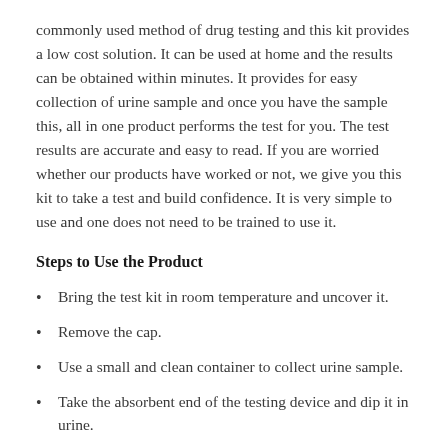commonly used method of drug testing and this kit provides a low cost solution. It can be used at home and the results can be obtained within minutes. It provides for easy collection of urine sample and once you have the sample this, all in one product performs the test for you. The test results are accurate and easy to read. If you are worried whether our products have worked or not, we give you this kit to take a test and build confidence. It is very simple to use and one does not need to be trained to use it.
Steps to Use the Product
Bring the test kit in room temperature and uncover it.
Remove the cap.
Use a small and clean container to collect urine sample.
Take the absorbent end of the testing device and dip it in urine.